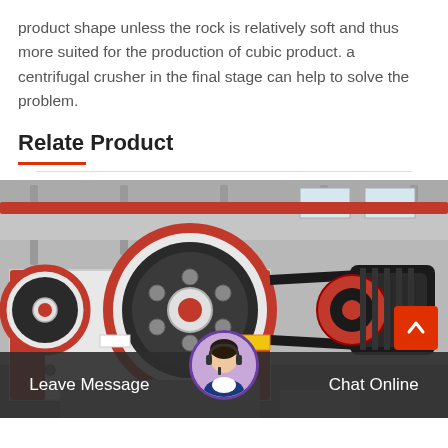product shape unless the rock is relatively soft and thus more suited for the production of cubic product. a centrifugal crusher in the final stage can help to solve the problem.
Relate Product
[Figure (photo): Industrial jaw crusher machine with large red and white flywheel, belt drive, and electric motor, photographed in a factory/warehouse setting.]
Leave Message
Chat Online